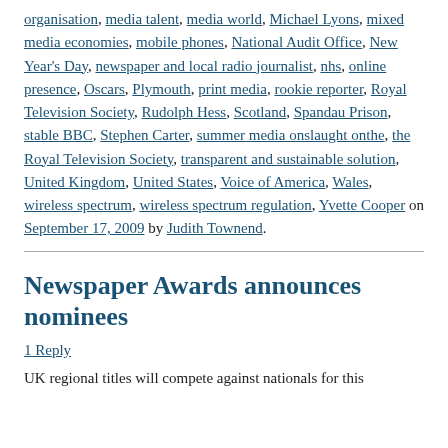organisation, media talent, media world, Michael Lyons, mixed media economies, mobile phones, National Audit Office, New Year's Day, newspaper and local radio journalist, nhs, online presence, Oscars, Plymouth, print media, rookie reporter, Royal Television Society, Rudolph Hess, Scotland, Spandau Prison, stable BBC, Stephen Carter, summer media onslaught onthe, the Royal Television Society, transparent and sustainable solution, United Kingdom, United States, Voice of America, Wales, wireless spectrum, wireless spectrum regulation, Yvette Cooper on September 17, 2009 by Judith Townend.
Newspaper Awards announces nominees
1 Reply
UK regional titles will compete against nationals for this